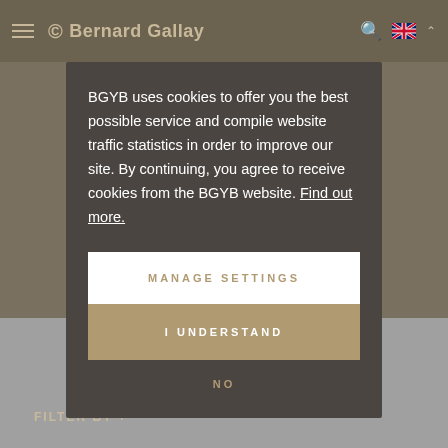[Figure (screenshot): Website header bar with hamburger menu, Bernard Gallay Yacht Brokers logo, search icon, UK flag, and chevron]
BGYB uses cookies to offer you the best possible service and compile website traffic statistics in order to improve our site. By continuing, you agree to receive cookies from the BGYB website. Find out more.
MANAGE SETTINGS
I UNDERSTAND
NO
FILTER BY +